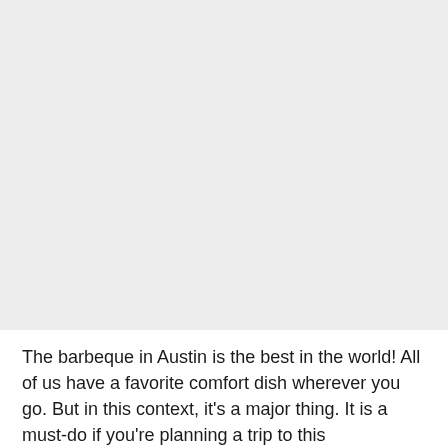[Figure (photo): Large grey/blank image area occupying the upper portion of the page]
The barbeque in Austin is the best in the world! All of us have a favorite comfort dish wherever you go. But in this context, it's a major thing. It is a must-do if you're planning a trip to this